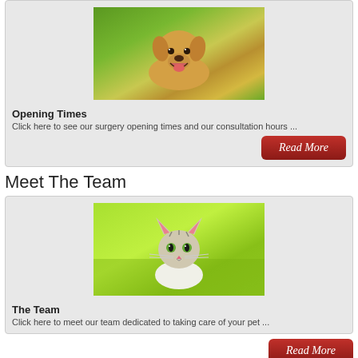[Figure (photo): Golden retriever dog sitting in green grass, smiling with mouth open]
Opening Times
Click here to see our surgery opening times and our consultation hours ...
Read More
Meet The Team
[Figure (photo): Small tabby kitten sitting in bright green grass, looking at camera]
The Team
Click here to meet our team dedicated to taking care of your pet ...